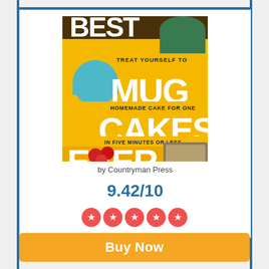[Figure (illustration): Book cover for 'Best Mug Cakes Ever' by Monica Sweeney, published by Countryman Press. Yellow and dark background with large white bold text reading BEST, MUG, CAKES, EVER with smaller text 'TREAT YOURSELF TO', 'HOMEMADE CAKE FOR ONE', 'IN FIVE MINUTES OR LESS'. Photos of mug cakes and raspberries on cover.]
by Countryman Press
9.42/10
[Figure (other): Five red circular star rating icons in a row indicating a high rating score]
Buy Now